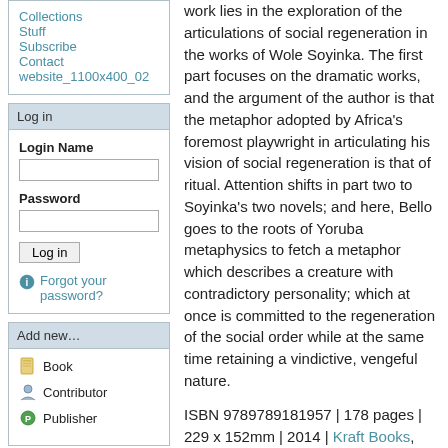Collections
Stuff
Subscribe
Contact
website_1100x400_02
Log in
Login Name
Password
Log in
Forgot your password?
Add new…
Book
Contributor
Publisher
work lies in the exploration of the articulations of social regeneration in the works of Wole Soyinka. The first part focuses on the dramatic works, and the argument of the author is that the metaphor adopted by Africa's foremost playwright in articulating his vision of social regeneration is that of ritual. Attention shifts in part two to Soyinka's two novels; and here, Bello goes to the roots of Yoruba metaphysics to fetch a metaphor which describes a creature with contradictory personality; which at once is committed to the regeneration of the social order while at the same time retaining a vindictive, vengeful nature.
ISBN 9789789181957 | 178 pages | 229 x 152mm | 2014 | Kraft Books, Nigeria | Paperback
Categories:
Literature
History & Criticism